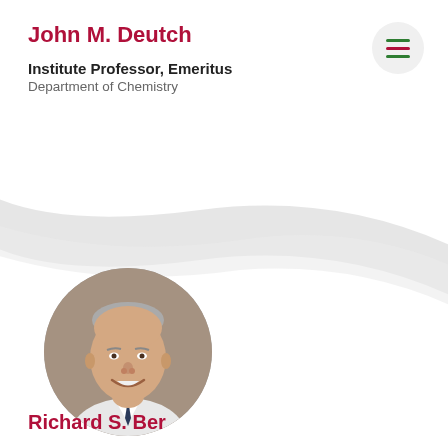John M. Deutch
Institute Professor, Emeritus
Department of Chemistry
[Figure (photo): Circular portrait photo of John M. Deutch, an elderly man smiling, wearing a white shirt and dark tie, with bookshelves visible in background]
Richard S. Ber...